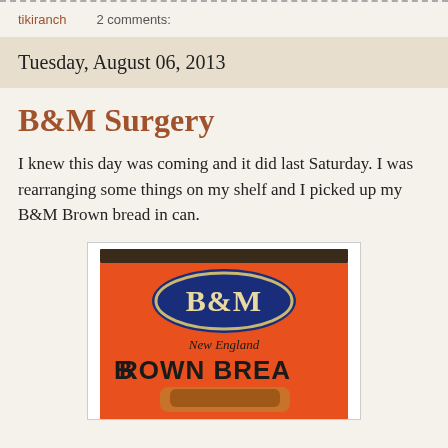tikiranch   2 comments:
Tuesday, August 06, 2013
B&M Surgery
I knew this day was coming and it did last Saturday. I was rearranging some things on my shelf and I picked up my B&M Brown bread in can.
[Figure (photo): A vintage B&M New England Brown Bread tin can with orange label, blue oval B&M logo, and 'BROWN BREAD' text]